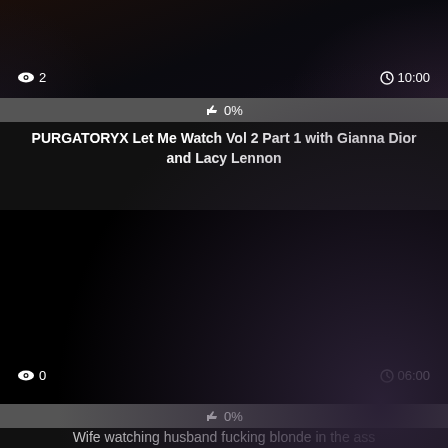[Figure (screenshot): Video thumbnail - dark/black image for first video card]
👁 2   🕐10:00
👍 0%
PURGATORYX Let Me Watch Vol 2 Part 1 with Gianna Dior and Lacy Lennon
[Figure (screenshot): Video thumbnail - black image for second video card]
👁 0   🕐06:00
👍 0%
Wife watching husband fucking blonde in the ass